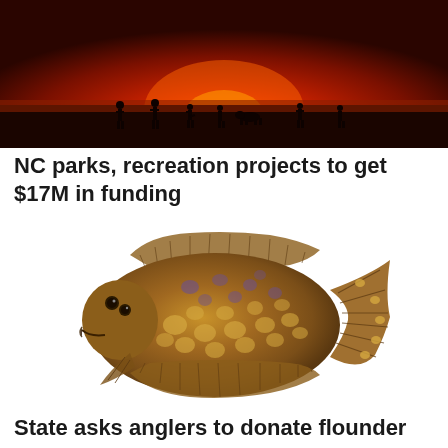[Figure (photo): Silhouettes of people on a beach at sunset with deep red/orange sky]
NC parks, recreation projects to get $17M in funding
[Figure (illustration): Illustration of a flounder fish with brown and tan spotted coloring, viewed from the top side, with visible fins and tail]
State asks anglers to donate flounder carcasses